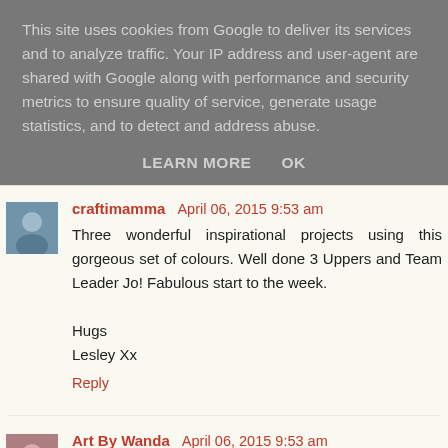This site uses cookies from Google to deliver its services and to analyze traffic. Your IP address and user-agent are shared with Google along with performance and security metrics to ensure quality of service, generate usage statistics, and to detect and address abuse.
LEARN MORE    OK
craftimamma  April 06, 2015 9:53 am
Three wonderful inspirational projects using this gorgeous set of colours. Well done 3 Uppers and Team Leader Jo! Fabulous start to the week.

Hugs
Lesley Xx

Reply
Art By Wanda  April 06, 2015 9:53 am
All wonderful pieces!!!